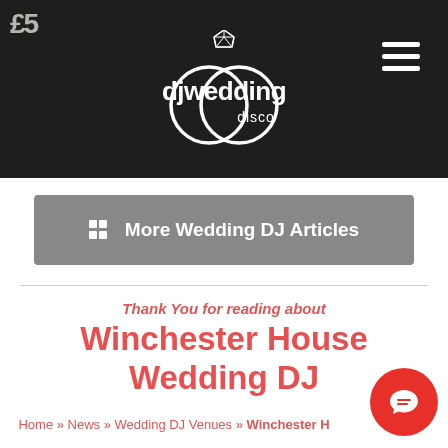[Figure (screenshot): Website header with dark overlay background showing currency notes, centered djweddingdisco logo in white, and hamburger menu icon top right]
More Wedding DJ Articles
Thank You for reading about
Winchester House Wedding DJ
Home » News » Wedding DJ Venues » Winchester House Wedding DJ